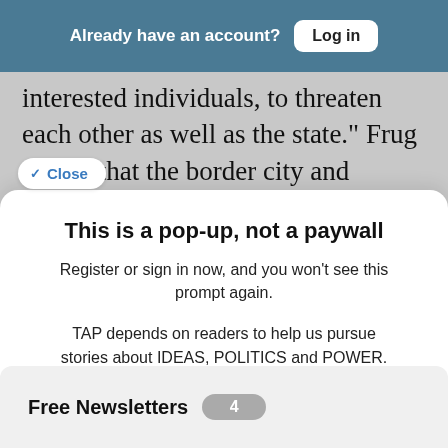Already have an account? Log in
interested individuals, to threaten each other as well as the state." Frug argues that the border city and suburb has been deemed as
✓ Close
This is a pop-up, not a paywall
Register or sign in now, and you won't see this prompt again.
TAP depends on readers to help us pursue stories about IDEAS, POLITICS and POWER. If you have the ability to support independent journalism, your tax-deductible contribution will help keep this site free
Free Newsletters 4